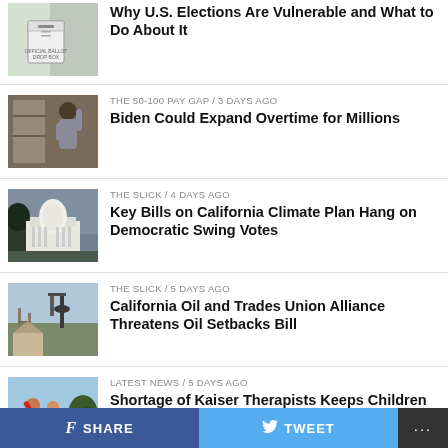[Figure (photo): Ballot drop box outside a building]
Why U.S. Elections Are Vulnerable and What to Do About It
[Figure (photo): Woman reaching into cabinet or shelf]
THE 50-100 PAY GAP / 3 days ago
Biden Could Expand Overtime for Millions
[Figure (photo): California state capitol building]
THE SLICK / 4 days ago
Key Bills on California Climate Plan Hang on Democratic Swing Votes
[Figure (photo): Oil pump jack with construction in background]
THE SLICK / 5 days ago
California Oil and Trades Union Alliance Threatens Oil Setbacks Bill
[Figure (photo): People at a rally or protest]
LATEST NEWS / 5 days ago
Shortage of Kaiser Therapists Keeps Children
SHARE   TWEET   ...